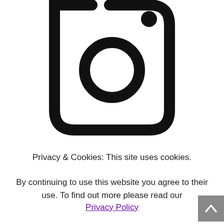[Figure (logo): Instagram logo icon in black and white: rounded square outline with a circle in the center and a small dot in the upper right corner, partially cropped at top]
Privacy & Cookies: This site uses cookies.
By continuing to use this website you agree to their use. To find out more please read our Privacy Policy
[Figure (other): Back to top button: grey square with white upward chevron arrow]